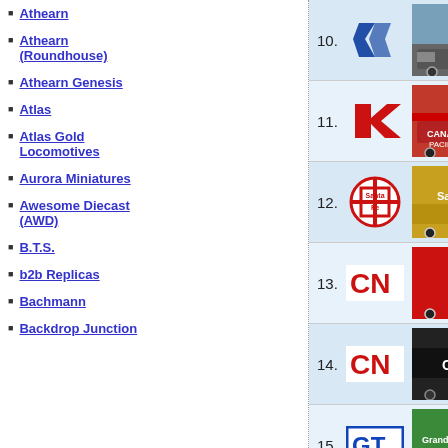Athearn
Athearn (Roundhouse)
Athearn Genesis
Atlas
Atlas Gold Locomotives
Aurora Miniatures
Awesome Diecast (AWD)
B.T.S.
b2b Replicas
Bachmann
Backdrop Junction
| # | Logo | Photo | Code | Description |
| --- | --- | --- | --- | --- |
| 10. |  |  | 999-H0098 | Blue/Wh |
| 11. | Kato |  | 999-H0100 | PWRS C (Beaver |
| 12. | Santa Fe |  | 999-H0108 | PWRS C SF/BNS |
| 13. | CN |  | 999-H0111 | PWRS C Cab (Ne |
| 14. | CN |  | 999-H0112 | PWRS C DB Reg |
| 15. | GT |  | 999-H0119 | PWRS C Trunk B |
| 16. | SOO LINE |  | 999-H0125 | PWRS C (Red w/ |